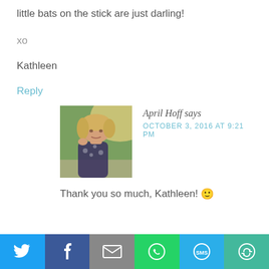little bats on the stick are just darling!
xo
Kathleen
Reply
[Figure (photo): A woman with short blonde hair outdoors, smiling, wearing a dark floral top. Outdoor background with green grass and sunlight.]
April Hoff says
OCTOBER 3, 2016 AT 9:21 PM
Thank you so much, Kathleen! 🙂
[Figure (infographic): Social sharing bar with Twitter, Facebook, Email, WhatsApp, SMS, and More buttons]